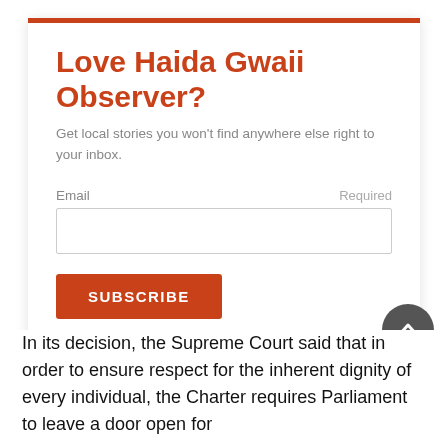Love Haida Gwaii Observer?
Get local stories you won't find anywhere else right to your inbox.
Email  Required
SUBSCRIBE
In its decision, the Supreme Court said that in order to ensure respect for the inherent dignity of every individual, the Charter requires Parliament to leave a door open for